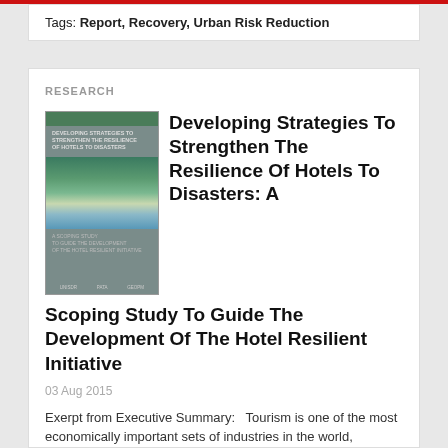Tags: Report, Recovery, Urban Risk Reduction
RESEARCH
[Figure (photo): Book cover of 'Developing Strategies To Strengthen The Resilience Of Hotels To Disasters' report with a coastal/forest landscape image and logos of partner organizations at the bottom.]
Developing Strategies To Strengthen The Resilience Of Hotels To Disasters: A Scoping Study To Guide The Development Of The Hotel Resilient Initiative
03 Aug 2015
Exerpt from Executive Summary:   Tourism is one of the most economically important sets of industries in the world, particularly...